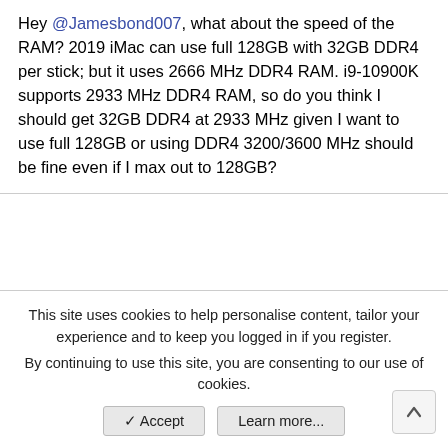Hey @Jamesbond007, what about the speed of the RAM? 2019 iMac can use full 128GB with 32GB DDR4 per stick; but it uses 2666 MHz DDR4 RAM. i9-10900K supports 2933 MHz DDR4 RAM, so do you think I should get 32GB DDR4 at 2933 MHz given I want to use full 128GB or using DDR4 3200/3600 MHz should be fine even if I max out to 128GB?
[Figure (other): Gray placeholder rectangle representing an embedded image or advertisement area]
This site uses cookies to help personalise content, tailor your experience and to keep you logged in if you register.
By continuing to use this site, you are consenting to our use of cookies.